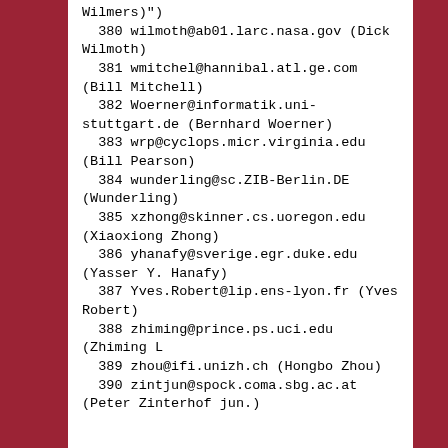Wilmers)")
  380 wilmoth@ab01.larc.nasa.gov (Dick Wilmoth)
381 wmitchel@hannibal.atl.ge.com (Bill Mitchell)
382 Woerner@informatik.uni-stuttgart.de (Bernhard Woerner)
383 wrp@cyclops.micr.virginia.edu (Bill Pearson)
384 wunderling@sc.ZIB-Berlin.DE (Wunderling)
385 xzhong@skinner.cs.uoregon.edu (Xiaoxiong Zhong)
386 yhanafy@sverige.egr.duke.edu (Yasser Y. Hanafy)
387 Yves.Robert@lip.ens-lyon.fr (Yves Robert)
388 zhiming@prince.ps.uci.edu (Zhiming L
389 zhou@ifi.unizh.ch (Hongbo Zhou)
390 zintjun@spock.coma.sbg.ac.at (Peter Zinterhof jun.)